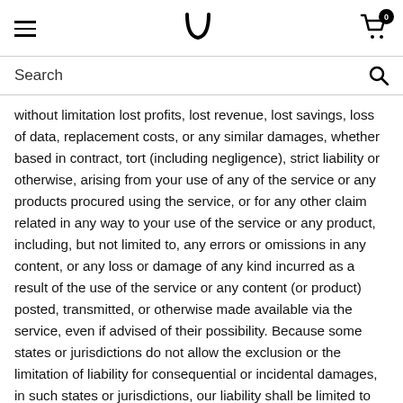Navigation header with hamburger menu, logo (U), and cart icon with badge 0
Search
without limitation lost profits, lost revenue, lost savings, loss of data, replacement costs, or any similar damages, whether based in contract, tort (including negligence), strict liability or otherwise, arising from your use of any of the service or any products procured using the service, or for any other claim related in any way to your use of the service or any product, including, but not limited to, any errors or omissions in any content, or any loss or damage of any kind incurred as a result of the use of the service or any content (or product) posted, transmitted, or otherwise made available via the service, even if advised of their possibility. Because some states or jurisdictions do not allow the exclusion or the limitation of liability for consequential or incidental damages, in such states or jurisdictions, our liability shall be limited to the maximum extent permitted by law.